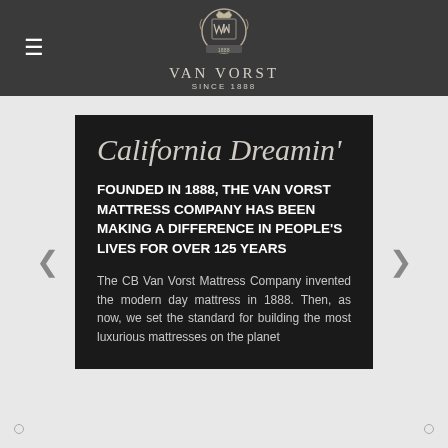[Figure (logo): Van Vorst Since 1888 logo with crest/crown emblem in dark header bar]
California Dreamin'
FOUNDED IN 1888, THE VAN VORST MATTRESS COMPANY HAS BEEN MAKING A DIFFERENCE IN PEOPLE'S LIVES FOR OVER 125 YEARS
The CB Van Vorst Mattress Company invented the modern day mattress in 1888. Then, as now, we set the standard for building the most luxurious mattresses on the planet